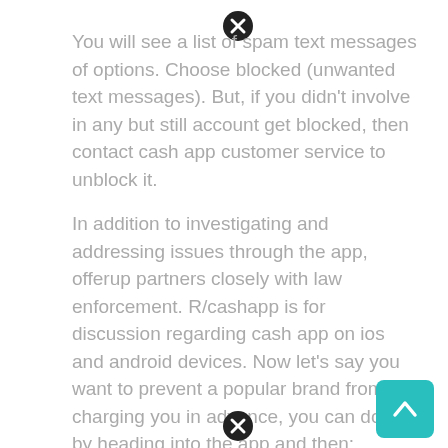You will see a list of spam text messages of options. Choose blocked (unwanted text messages). But, if you didn't involve in any but still account get blocked, then contact cash app customer service to unblock it.
In addition to investigating and addressing issues through the app, offerup partners closely with law enforcement. R/cashapp is for discussion regarding cash app on ios and android devices. Now let's say you want to prevent a popular brand from charging you in advance, you can do this by heading into the app and then:
Similarly, you have to search for that person's transaction on your cash app account for blocking someone. Make sure you have an internet connection Posting cashtag = permanent ban.